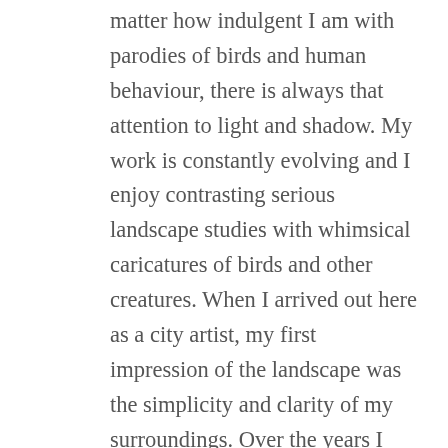matter how indulgent I am with parodies of birds and human behaviour, there is always that attention to light and shadow. My work is constantly evolving and I enjoy contrasting serious landscape studies with whimsical caricatures of birds and other creatures. When I arrived out here as a city artist, my first impression of the landscape was the simplicity and clarity of my surroundings. Over the years I have been trying to capture the energy and beauty of such a seemingly “nothing there” landscape. This simplicity encompasses great colour and light, it seems harsh yet safe at the same time. Mixed with the interplay of human, animal and plant life the landscape becomes full of immense emotion detailing a great kaleidoscope of raw beauty, contrast and humour. The outback is a graveyard of historical remnants and examples of human endeavour. In many ways my paintings pay